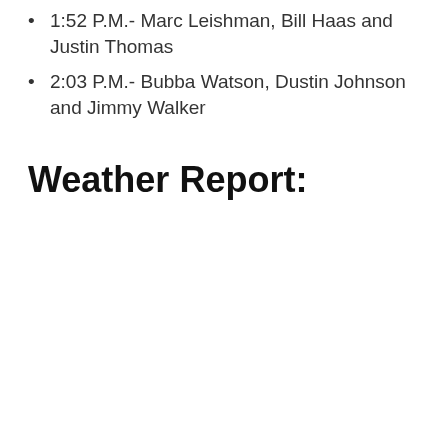1:52 P.M.- Marc Leishman, Bill Haas and Justin Thomas
2:03 P.M.-  Bubba Watson, Dustin Johnson and Jimmy Walker
Weather Report: